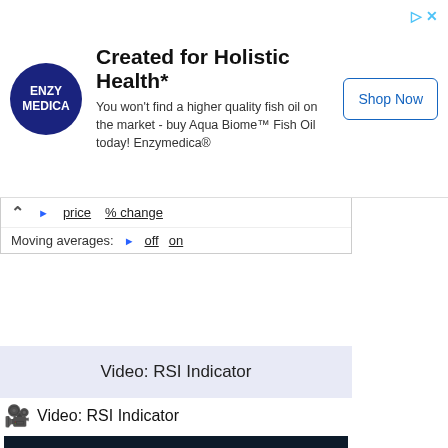[Figure (infographic): Advertisement banner: Enzymedica logo (blue circle), headline 'Created for Holistic Health*', body text about fish oil, and 'Shop Now' button. Navigation arrows top right.]
price   % change
Moving averages:   off   on
Video: RSI Indicator
Video: RSI Indicator
[Figure (screenshot): Video thumbnail showing trading charts with green candlestick bars, P/E level annotations, red data boxes, and 'TRADING' text at bottom in yellow. Video play button overlay showing 'Video: RSI Indicator'.]